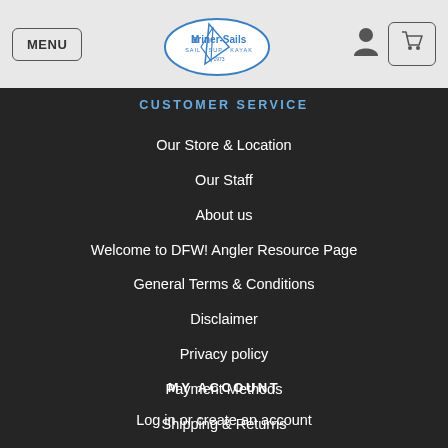MENU | Mariner-Sails Logo | User icon | Cart icon
CUSTOMER SERVICE
Our Store & Location
Our Staff
About us
Welcome to DFW! Angler Resource Page
General Terms & Conditions
Disclaimer
Privacy policy
Payment Methods
Shipping & Returns
Customer Support & FAQs
Sitemap
MY ACCOUNT
Log in or create an account